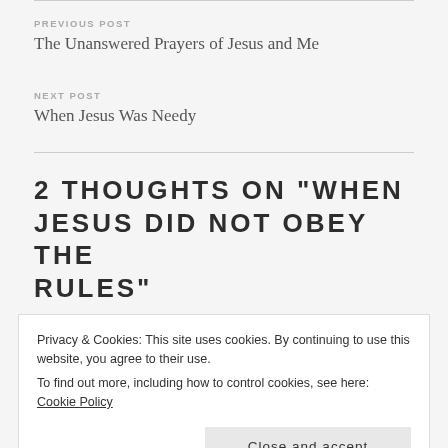PREVIOUS POST
The Unanswered Prayers of Jesus and Me
NEXT POST
When Jesus Was Needy
2 THOUGHTS ON “WHEN JESUS DID NOT OBEY THE RULES”
Privacy & Cookies: This site uses cookies. By continuing to use this website, you agree to their use.
To find out more, including how to control cookies, see here: Cookie Policy
Close and accept
encouraged during this interesting time.